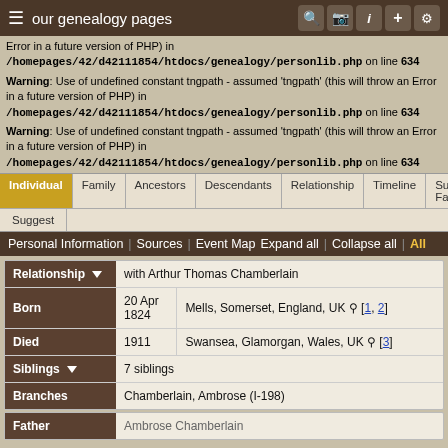our genealogy pages
Error in a future version of PHP) in /homepages/42/d42111854/htdocs/genealogy/personlib.php on line 634
Warning: Use of undefined constant tngpath - assumed 'tngpath' (this will throw an Error in a future version of PHP) in /homepages/42/d42111854/htdocs/genealogy/personlib.php on line 634
Warning: Use of undefined constant tngpath - assumed 'tngpath' (this will throw an Error in a future version of PHP) in /homepages/42/d42111854/htdocs/genealogy/personlib.php on line 634
Individual | Family | Ancestors | Descendants | Relationship | Timeline | Submit Family
Suggest
Personal Information | Sources | Event Map  Expand all | Collapse all | All
| Field | Value1 | Value2 |
| --- | --- | --- |
| Relationship | with Arthur Thomas Chamberlain |  |
| Born | 20 Apr 1824 | Mells, Somerset, England, UK [1, 2] |
| Died | 1911 | Swansea, Glamorgan, Wales, UK [3] |
| Siblings | 7 siblings |  |
| Branches | Chamberlain, Ambrose (I-198) |  |
| Field | Value |
| --- | --- |
| Father | Ambrose Chamberlain |